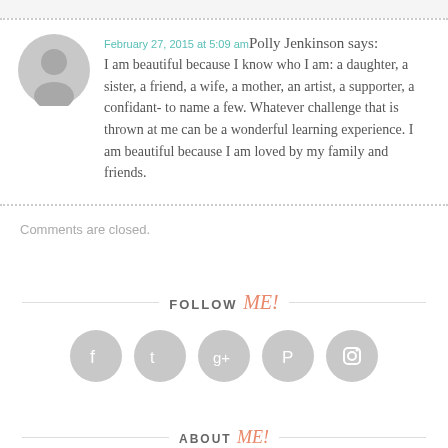February 27, 2015 at 5:09 am Polly Jenkinson says: I am beautiful because I know who I am: a daughter, a sister, a friend, a wife, a mother, an artist, a supporter, a confidant- to name a few. Whatever challenge that is thrown at me can be a wonderful learning experience. I am beautiful because I am loved by my family and friends.
Comments are closed.
FOLLOW me!
[Figure (illustration): Five circular gray social media icons: Facebook, Twitter, Google+, Pinterest, Instagram]
ABOUT me!